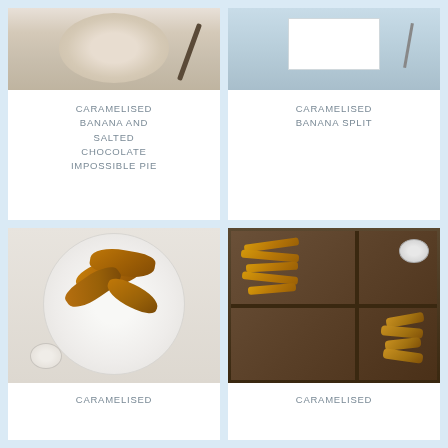[Figure (photo): Top-down view of a caramelised banana and salted chocolate pie in a white dish with a dark knife]
CARAMELISED BANANA AND SALTED CHOCOLATE IMPOSSIBLE PIE
[Figure (photo): Top-down view of a caramelised banana split on light blue background]
CARAMELISED BANANA SPLIT
[Figure (photo): Chicken wings on a white plate with a small dipping sauce bowl]
CARAMELISED
[Figure (photo): Onion rings and chips in a wooden crate with dipping sauces]
CARAMELISED